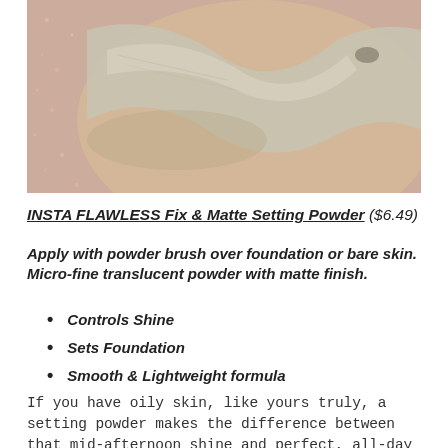[Figure (photo): Close-up photo of a cosmetic setting powder swatch on skin, showing beige/nude powder swatched on the back of a hand against a pink glittery background.]
INSTA FLAWLESS Fix & Matte Setting Powder ($6.49)
Apply with powder brush over foundation or bare skin. Micro-fine translucent powder with matte finish.
Controls Shine
Sets Foundation
Smooth & Lightweight formula
If you have oily skin, like yours truly, a setting powder makes the difference between that mid-afternoon shine and perfect, all-day makeup. You can use this affordable little compact to set your oilier T-zone or even to"bake" your makeup, particularly underneath the eyes to brighten them up even further. Use as